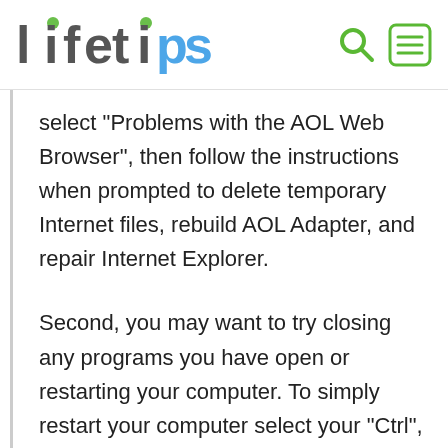lifetips
select "Problems with the AOL Web Browser", then follow the instructions when prompted to delete temporary Internet files, rebuild AOL Adapter, and repair Internet Explorer.
Second, you may want to try closing any programs you have open or restarting your computer. To simply restart your computer select your "Ctrl", "Alt", and "Delete" keys all at once. When a box pops up, press all three keys